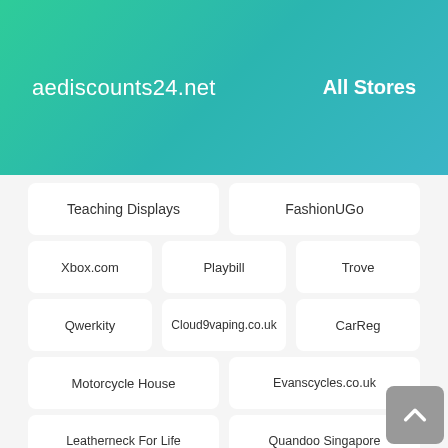aediscounts24.net   All Stores
Teaching Displays
FashionUGo
Xbox.com
Playbill
Trove
Qwerkity
Cloud9vaping.co.uk
CarReg
Motorcycle House
Evanscycles.co.uk
Leatherneck For Life
Quandoo Singapore
Jigthings
Aceroix
4ground.co.uk
Faith Alive Christian Resources
Bluedio